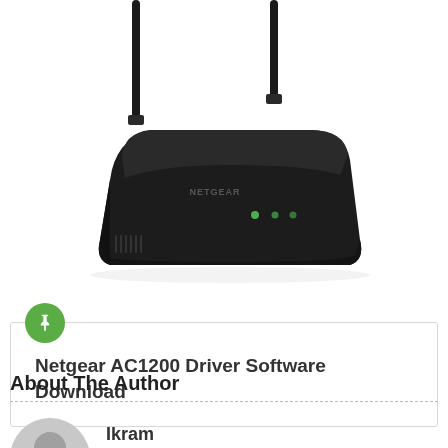[Figure (photo): NETGEAR AC1200 black wireless router with two antennas and green LED indicator lights on front panel, photographed from a slightly elevated front angle against white background]
Netgear AC1200 Driver Software Download
About The Author
Ikram